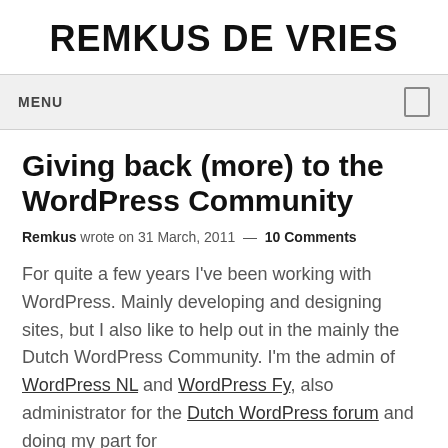REMKUS DE VRIES
MENU
Giving back (more) to the WordPress Community
Remkus wrote on 31 March, 2011 — 10 Comments
For quite a few years I've been working with WordPress. Mainly developing and designing sites, but I also like to help out in the mainly the Dutch WordPress Community. I'm the admin of WordPress NL and WordPress Fy, also administrator for the Dutch WordPress forum and doing my part for